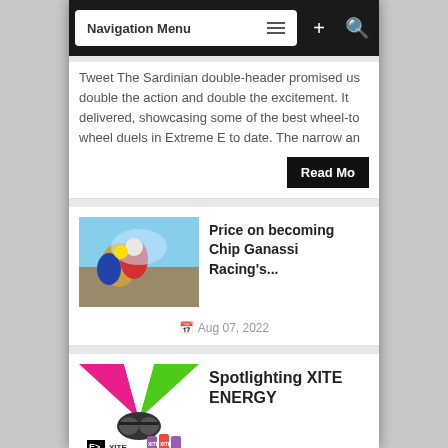Navigation Menu
Tweet The Sardinian double-header promised us double the action and double the excitement. It delivered, showcasing some of the best wheel-to wheel duels in Extreme E to date. The narrow an
Read Mo
[Figure (photo): Racing drivers celebrating, being sprayed with liquid, outdoor event]
Price on becoming Chip Ganassi Racing's...
Aug 07, 2022
[Figure (photo): XITE Energy branding with colorful pink and green rays, goggles and energy drink cans with XITE logo]
Spotlighting XITE ENERGY